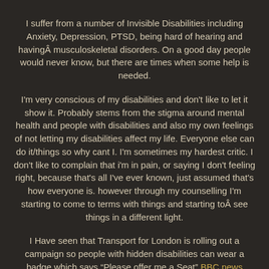I suffer from a number of Invisible Disabilities including Anxiety, Depression, PTSD, being hard of hearing and havingÂ musculoskeletal disorders. On a good day people would never know, but there are times when some help is needed.
I'm very conscious of my disabilities and don't like to let it show it. Probably stems from the stigma around mental health and people with disabilities and also my own feelings of not letting my disabilities affect my life. Everyone else can do it/things so why cant I. I'm sometimes my hardest critic. I don't like to complain that i'm in pain, or saying I don't feeling right, because that's all I've ever known, just assumed that's how everyone is. however through my counselling I'm starting to come to terms with things and starting toÂ see things in a different light.
I Have seen that Transport for London is rolling out a campaign so people with hidden disabilities can wear a badge which says "Please offer me a Seat" BBC news ArticleÂ I think this is a really good and useful idea. The only down side is that its only for London. I Sometimes struggle to stand for long periods and when travelling on public transport it isn't always a smooth ride, as you are jostled